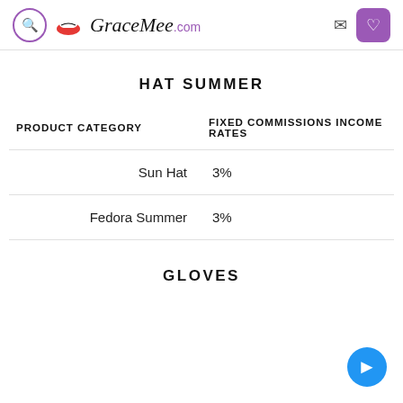GraceMee.com
HAT SUMMER
| PRODUCT CATEGORY | FIXED COMMISSIONS INCOME RATES |
| --- | --- |
| Sun Hat | 3% |
| Fedora Summer | 3% |
GLOVES